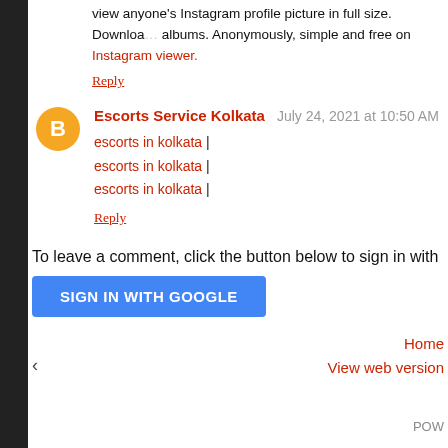view anyone's Instagram profile picture in full size. Download albums. Anonymously, simple and free on Instagram viewer.
Reply
Escorts Service Kolkata  July 24, 2021 at 10:50 AM
escorts in kolkata |
escorts in kolkata |
escorts in kolkata |
Reply
To leave a comment, click the button below to sign in with
SIGN IN WITH GOOGLE
‹
Home
View web version
POW